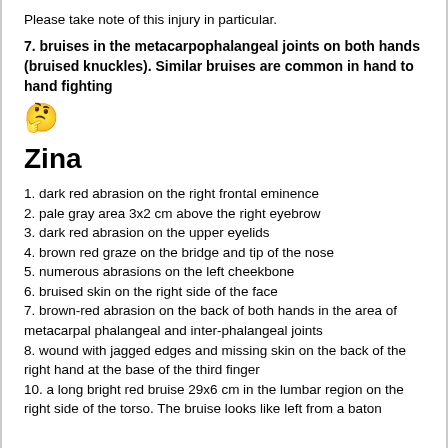Please take note of this injury in particular.
7. bruises in the metacarpophalangeal joints on both hands (bruised knuckles). Similar bruises are common in hand to hand fighting
[Figure (illustration): Thinking face emoji (yellow cartoon face with hand on chin)]
Zina
1. dark red abrasion on the right frontal eminence
2. pale gray area 3x2 cm above the right eyebrow
3. dark red abrasion on the upper eyelids
4. brown red graze on the bridge and tip of the nose
5. numerous abrasions on the left cheekbone
6. bruised skin on the right side of the face
7. brown-red abrasion on the back of both hands in the area of metacarpal phalangeal and inter-phalangeal joints
8. wound with jagged edges and missing skin on the back of the right hand at the base of the third finger
10. a long bright red bruise 29x6 cm in the lumbar region on the right side of the torso. The bruise looks like left from a baton